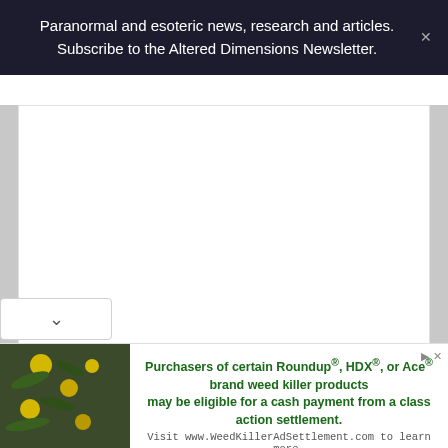Paranormal and esoteric news, research and articles. Subscribe to the Altered Dimensions Newsletter.
[Figure (screenshot): White content area representing a webpage scroll area with grey background]
[Figure (photo): Advertisement banner at bottom: photo of plant with yellow flowers on left; text about Roundup weed killer class action settlement on right]
Purchasers of certain Roundup®, HDX®, or Ace® brand weed killer products may be eligible for a cash payment from a class action settlement. Visit www.WeedKillerAdSettlement.com to learn more.